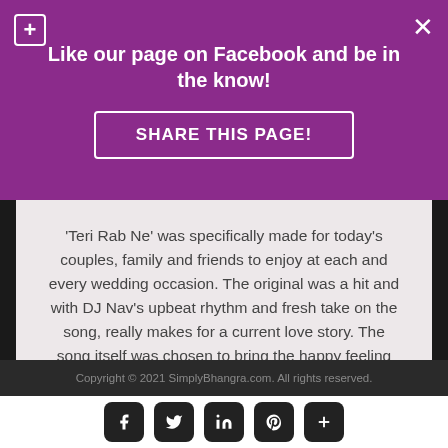Like our page on Facebook and be in the know!
SHARE THIS PAGE!
'Teri Rab Ne' was specifically made for today's couples, family and friends to enjoy at each and every wedding occasion. The original was a hit and with DJ Nav's upbeat rhythm and fresh take on the song, really makes for a current love story. The song itself was chosen to bring the happy feeling with raw dhol and melodious voices to set all dance floors in the right spirit.

DJ Nav has pulled out all the stops on this international collaboration to keep your feet stomping and hands clapping.
Copyright © 2021 SimplyBhangra.com. All rights reserved.